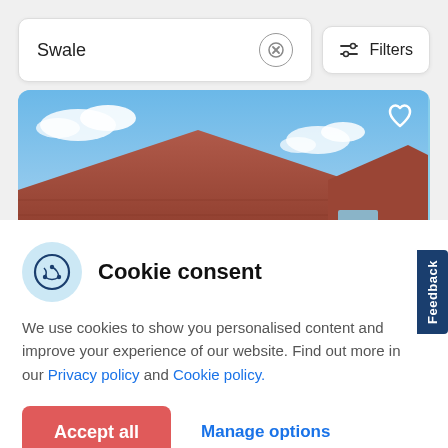Swale
[Figure (screenshot): Filters button with sliders icon]
[Figure (photo): House rooftop with terracotta tiles against a blue sky with clouds, with a white heart icon in top right]
Cookie consent
We use cookies to show you personalised content and improve your experience of our website. Find out more in our Privacy policy and Cookie policy.
Accept all
Manage options
Feedback